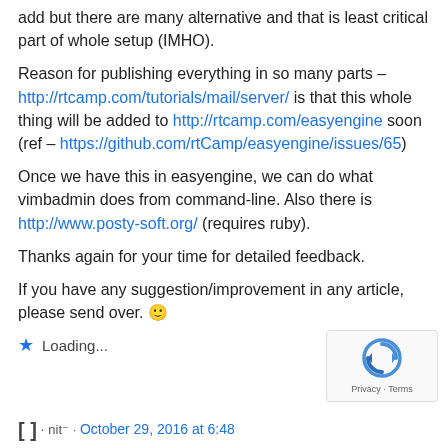add but there are many alternative and that is least critical part of whole setup (IMHO).
Reason for publishing everything in so many parts – http://rtcamp.com/tutorials/mail/server/ is that this whole thing will be added to http://rtcamp.com/easyengine soon (ref – https://github.com/rtCamp/easyengine/issues/65)
Once we have this in easyengine, we can do what vimbadmin does from command-line. Also there is http://www.posty-soft.org/ (requires ruby).
Thanks again for your time for detailed feedback.
If you have any suggestion/improvement in any article, please send over. 🙂
Loading...
[Figure (logo): reCAPTCHA logo with Privacy and Terms text]
[...]